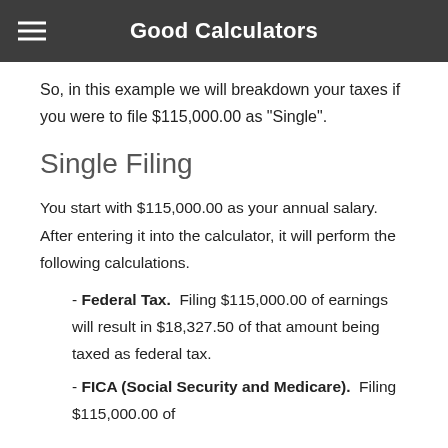Good Calculators
So, in this example we will breakdown your taxes if you were to file $115,000.00 as "Single".
Single Filing
You start with $115,000.00 as your annual salary. After entering it into the calculator, it will perform the following calculations.
- Federal Tax.  Filing $115,000.00 of earnings will result in $18,327.50 of that amount being taxed as federal tax.
- FICA (Social Security and Medicare).  Filing $115,000.00 of